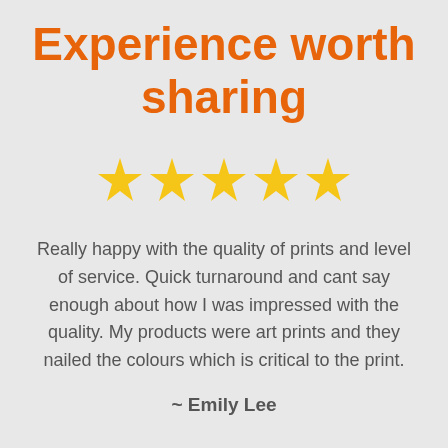Experience worth sharing
[Figure (other): Five golden star rating icons in a row]
Really happy with the quality of prints and level of service. Quick turnaround and cant say enough about how I was impressed with the quality. My products were art prints and they nailed the colours which is critical to the print.
~ Emily Lee